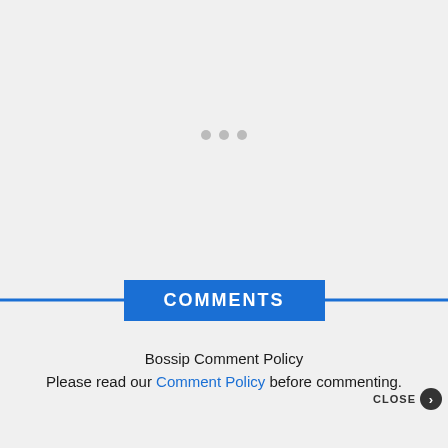[Figure (other): Loading spinner area with three gray dots centered on a light gray background]
COMMENTS
Bossip Comment Policy
Please read our Comment Policy before commenting.